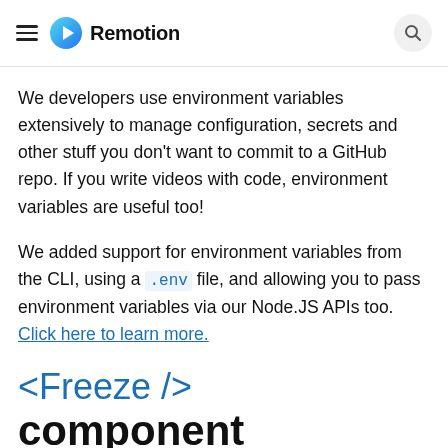Remotion
We developers use environment variables extensively to manage configuration, secrets and other stuff you don't want to commit to a GitHub repo. If you write videos with code, environment variables are useful too!
We added support for environment variables from the CLI, using a .env file, and allowing you to pass environment variables via our Node.JS APIs too. Click here to learn more.
<Freeze /> component